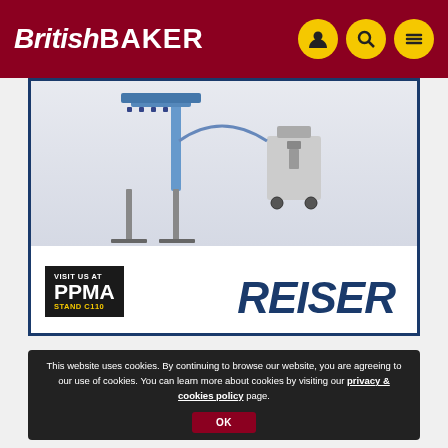British BAKER
[Figure (illustration): Advertisement for Reiser featuring industrial machinery (conveyor/processing equipment) on a white background. Includes a black badge reading 'VISIT US AT PPMA STAND C110' in yellow and white text, and the Reiser logo in dark blue italic bold lettering.]
This website uses cookies. By continuing to browse our website, you are agreeing to our use of cookies. You can learn more about cookies by visiting our privacy & cookies policy page.
OK